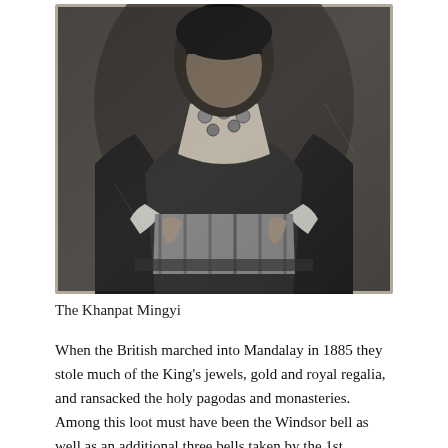[Figure (photo): Black and white historical photograph of the Khanpat Mingyi, a Burmese dignitary seated, wearing traditional ornate robes with decorative collar and cuffs, hands resting in lap.]
The Khanpat Mingyi
When the British marched into Mandalay in 1885 they stole much of the King's jewels, gold and royal regalia, and ransacked the holy pagodas and monasteries. Among this loot must have been the Windsor bell as well as an additional three bells taken by the 1st Battalion of the Royal Welsh Fusiliers from the...